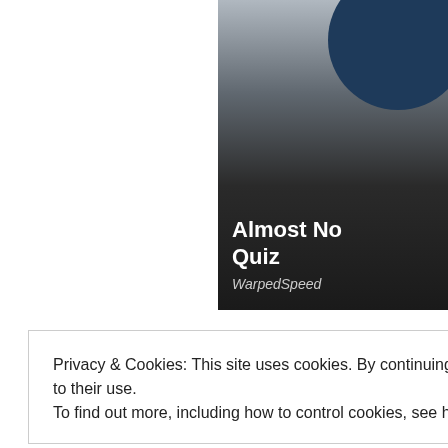[Figure (screenshot): Partial view of a card with dark background showing a blue circular element at top right, gradient from grey to dark, with bold white text 'Almost No' and 'Quiz' and italic text 'WarpedSpeed']
Privacy & Cookies: This site uses cookies. By continuing to use this website, you agree to their use.
To find out more, including how to control cookies, see here: Cookie Policy
Close and accept